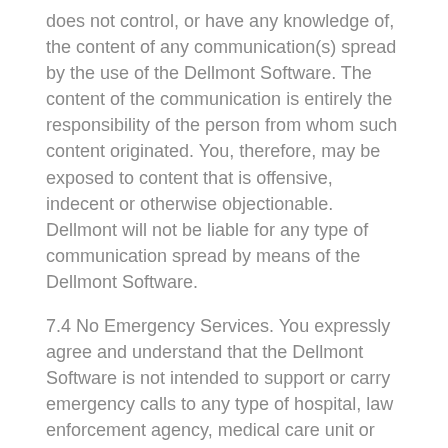does not control, or have any knowledge of, the content of any communication(s) spread by the use of the Dellmont Software. The content of the communication is entirely the responsibility of the person from whom such content originated. You, therefore, may be exposed to content that is offensive, indecent or otherwise objectionable. Dellmont will not be liable for any type of communication spread by means of the Dellmont Software.
7.4 No Emergency Services. You expressly agree and understand that the Dellmont Software is not intended to support or carry emergency calls to any type of hospital, law enforcement agency, medical care unit or any other kind of emergency service. Dellmont, its Affiliates or Dellmont Staff are in no way liable for such emergency calls.
7.5 Lawful purposes. You acknowledge and agree to use the Dellmont Software solely for lawful purposes. In this respect You may not, without limitation (a) intercept or monitor, damage or modify any communication which is not intended for You, (b) use any type of spider, virus, worm, trojan-horse, time bomb or any